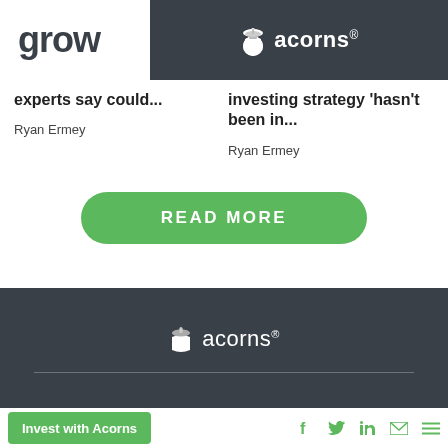grow | acorns®
experts say could...
Ryan Ermey
investing strategy 'hasn't been in...
Ryan Ermey
[Figure (other): READ MORE button - green rounded rectangle with white uppercase text]
[Figure (logo): Acorns logo in white on dark background in footer]
Invest with Acorns | social icons: facebook, twitter, linkedin, email, menu